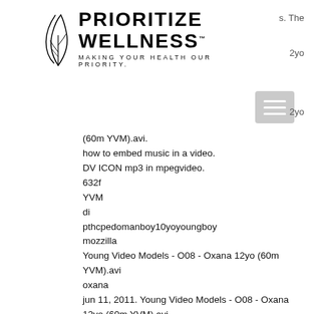[Figure (logo): Prioritize Wellness logo with leaf graphic and tagline 'MAKING YOUR HEALTH OUR PRIORITY.']
(60m YVM).avi.
how to embed music in a video.
DV ICON mp3 in mpegvideo.
632f
YVM
di
pthcpedomanboy10yoyoungboy
mozzilla
Young Video Models - O08 - Oxana 12yo (60m YVM).avi
oxana
jun 11, 2011. Young Video Models - O08 - Oxana 12yo (60m YVM).avi
naomi
Young Video Models - O08 - Oxana 12yo